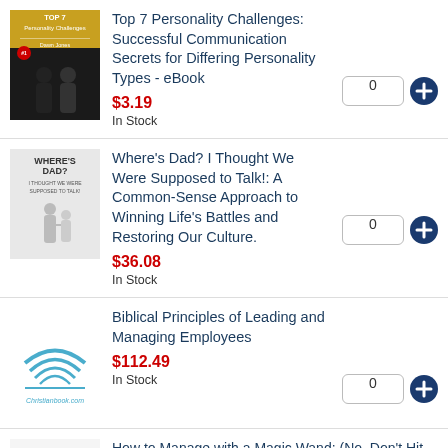[Figure (illustration): Book cover: Top 7 Personality Challenges by Dawn Jones, dark cover with two silhouettes facing each other]
Top 7 Personality Challenges: Successful Communication Secrets for Differing Personality Types - eBook
$3.19
In Stock
[Figure (illustration): Book cover: Where's Dad? I Thought We Were Supposed to Talk!, light cover with adult and child silhouettes]
Where's Dad? I Thought We Were Supposed to Talk!: A Common-Sense Approach to Winning Life's Battles and Restoring Our Culture.
$36.08
In Stock
[Figure (logo): Christianbook.com logo with open book and waves]
Biblical Principles of Leading and Managing Employees
$112.49
In Stock
[Figure (illustration): Book cover: How to Manage with a Magic Wand]
How to Manage with a Magic Wand: (No, Don't Hit Your Problem Employees over the Head with